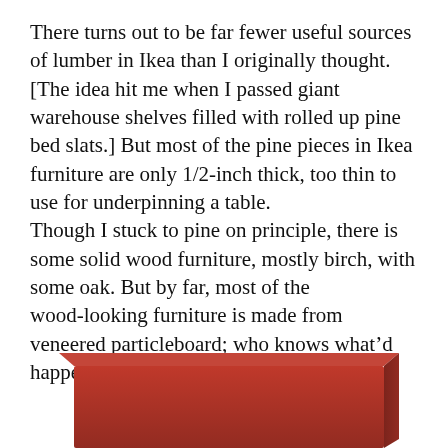There turns out to be far fewer useful sources of lumber in Ikea than I originally thought. [The idea hit me when I passed giant warehouse shelves filled with rolled up pine bed slats.] But most of the pine pieces in Ikea furniture are only 1/2-inch thick, too thin to use for underpinning a table.
Though I stuck to pine on principle, there is some solid wood furniture, mostly birch, with some oak. But by far, most of the wood-looking furniture is made from veneered particleboard; who knows what'd happen if you cut it?
[Figure (photo): Bottom portion of a red/dark-red rectangular object, likely a box or piece of furniture, partially cropped at the bottom of the page.]